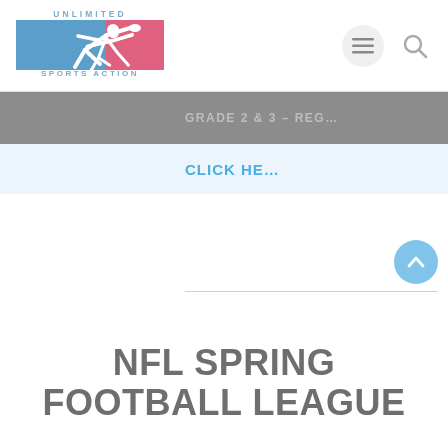[Figure (logo): Unlimited Sports Action logo — blue and pink rectangle with white running figure, text 'UNLIMITED' above and 'SPORTS ACTION' below]
GRADE 2 & 3 – REG…
CLICK HE…
NFL SPRING FOOTBALL LEAGUE